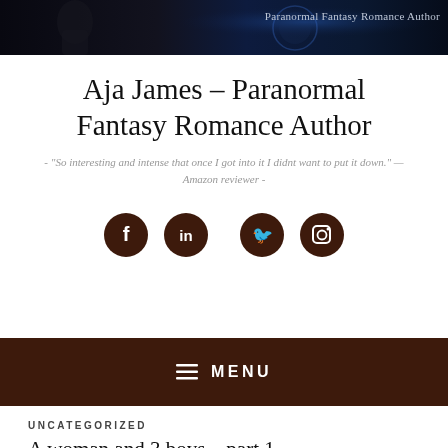[Figure (photo): Dark website header banner with a figure silhouette on the left and text 'Paranormal Fantasy Romance Author' on the right, against a dark blue/black background with a glowing blue planet or moon.]
Aja James – Paranormal Fantasy Romance Author
- "So interesting and intense that once I got into it I didnt want to put it down." — Amazon reviewer -
[Figure (infographic): Four dark brown circular social media icons in a row: Facebook, LinkedIn, Twitter, Instagram]
≡ MENU
UNCATEGORIZED
A woman and 3 boys – part 1
January 13, 2018